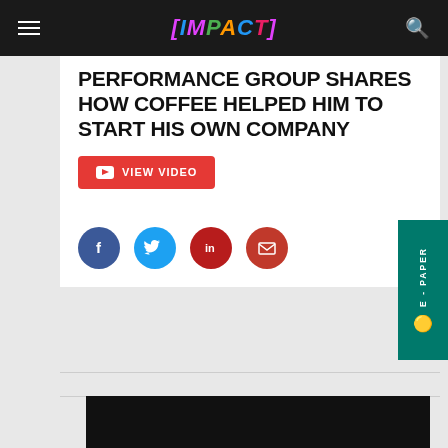[IMPACT]
PERFORMANCE GROUP SHARES HOW COFFEE HELPED HIM TO START HIS OWN COMPANY
[Figure (screenshot): VIEW VIDEO button in red with YouTube icon]
[Figure (infographic): Social sharing icons: Facebook (blue), Twitter (blue), LinkedIn (red), Email (red)]
[Figure (photo): Black video thumbnail at the bottom of the page]
E - PAPER